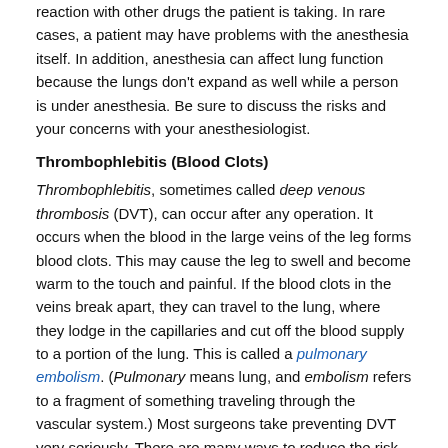reaction with other drugs the patient is taking. In rare cases, a patient may have problems with the anesthesia itself. In addition, anesthesia can affect lung function because the lungs don't expand as well while a person is under anesthesia. Be sure to discuss the risks and your concerns with your anesthesiologist.
Thrombophlebitis (Blood Clots)
Thrombophlebitis, sometimes called deep venous thrombosis (DVT), can occur after any operation. It occurs when the blood in the large veins of the leg forms blood clots. This may cause the leg to swell and become warm to the touch and painful. If the blood clots in the veins break apart, they can travel to the lung, where they lodge in the capillaries and cut off the blood supply to a portion of the lung. This is called a pulmonary embolism. (Pulmonary means lung, and embolism refers to a fragment of something traveling through the vascular system.) Most surgeons take preventing DVT very seriously. There are many ways to reduce the risk of DVT, but probably the most effective is getting you moving as soon as possible. Two other commonly used preventative measures include
pressure stockings to keep the blood in the legs moving